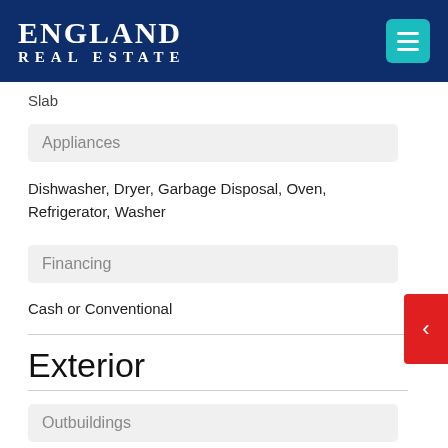ENGLAND REAL ESTATE
Slab
Appliances
Dishwasher, Dryer, Garbage Disposal, Oven, Refrigerator, Washer
Financing
Cash or Conventional
Exterior
Outbuildings